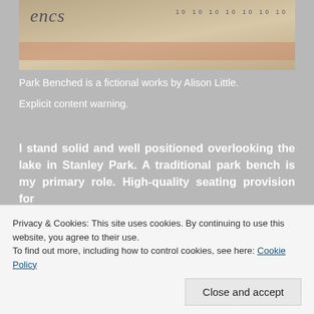[Figure (photo): Partial photo of a book or artwork cover with decorative text and a pink/tan ribbon or strip across the lower portion. Faint cursive lettering and repeated numbers visible.]
Park Benched is a fictional works by Alison Little.
Explicit content warning.
I stand solid and well positioned overlooking the lake in Stanley Park. A traditional park bench is my primary role. High-quality seating provision for
Privacy & Cookies: This site uses cookies. By continuing to use this website, you agree to their use.
To find out more, including how to control cookies, see here: Cookie Policy
Close and accept
and a leading resting point solution and clearly